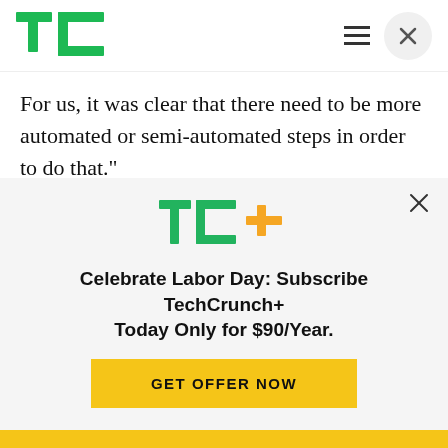TechCrunch
For us, it was clear that there need to be more automated or semi-automated steps in order to do that."
And though Blackshark found its start in the gaming field — and while it is working on this with Microsoft and Asobo Studios — it's actually not focused on gaming but instead on things like autonomous
[Figure (logo): TechCrunch TC+ logo in yellow/green]
Celebrate Labor Day: Subscribe TechCrunch+ Today Only for $90/Year.
GET OFFER NOW